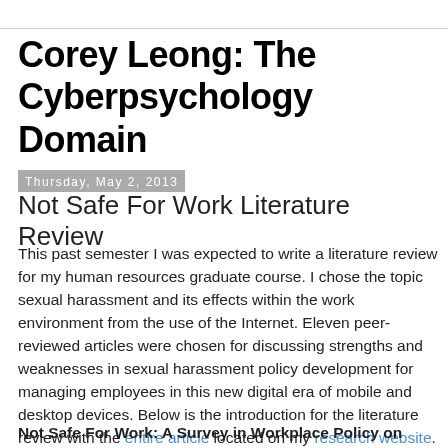Corey Leong: The Cyberpsychology Domain
Thursday, May 2, 2013
Not Safe For Work Literature Review
This past semester I was expected to write a literature review for my human resources graduate course. I chose the topic sexual harassment and its effects within the work environment from the use of the Internet. Eleven peer-reviewed articles were chosen for discussing strengths and weaknesses in sexual harassment policy development for managing employees in this new digital era of mobile and desktop devices. Below is the introduction for the literature review with the entire article located on my research website. Please feel to provide commentary and feedback.
Not Safe For Work: A Survey in Workplace Policy on